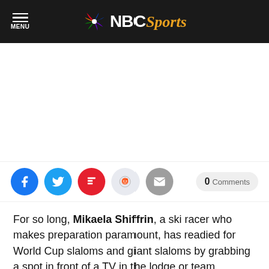NBC Sports
[Figure (other): Advertisement / blank white space placeholder area]
Social share buttons: Facebook, Twitter, Flipboard, Reddit, Email. 0 Comments button.
For so long, Mikaela Shiffrin, a ski racer who makes preparation paramount, has readied for World Cup slaloms and giant slaloms by grabbing a spot in front of a TV in the lodge or team hospitality.